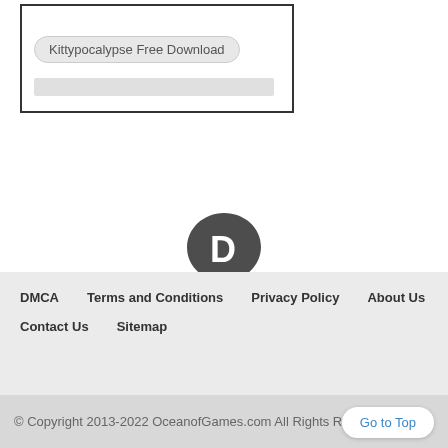[Figure (screenshot): Search box with pill-shaped label 'Kittypocalypse Free Download' and a gray search bar below it, inside a bordered rectangle]
[Figure (logo): Disqus logo - dark gray speech bubble with letter D inside]
DMCA   Terms and Conditions   Privacy Policy   About Us
Contact Us   Sitemap
© Copyright 2013-2022 OceanofGames.com All Rights Reserved
Go to Top